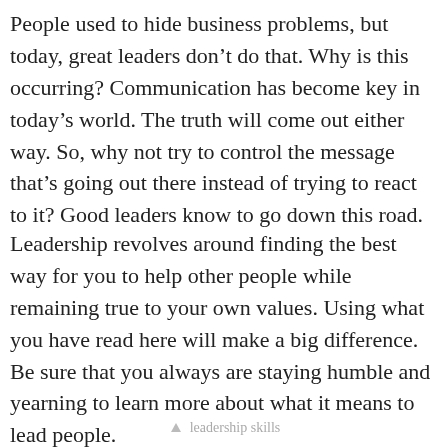People used to hide business problems, but today, great leaders don’t do that. Why is this occurring? Communication has become key in today’s world. The truth will come out either way. So, why not try to control the message that’s going out there instead of trying to react to it? Good leaders know to go down this road.
Leadership revolves around finding the best way for you to help other people while remaining true to your own values. Using what you have read here will make a big difference. Be sure that you always are staying humble and yearning to learn more about what it means to lead people.
leadership skills